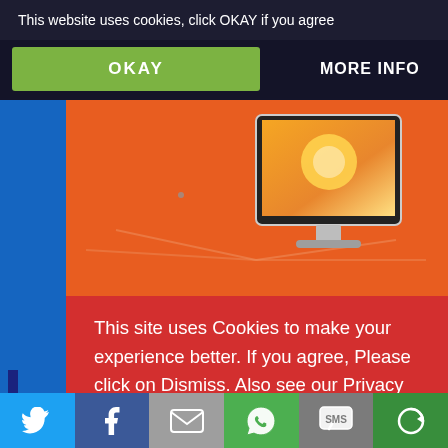This website uses cookies, click OKAY if you agree
OKAY
MORE INFO
[Figure (screenshot): Animated video maker website screenshot showing a monitor with animation, 'TRY IT NOW' button, vyond.com text, and currency selector tabs (ZAR, USD, AUD, EUR, CAD, GBP) on the right side, on an orange background]
TRY IT NOW
vyond.com
This site uses Cookies to make your experience better. If you agree, Please click on Dismiss. Also see our Privacy Policy.
Dismiss
[Figure (infographic): Social share bar with icons: Twitter (bird), Facebook (f), Email (envelope), WhatsApp (phone), SMS (chat bubble), and a circular arrow icon]